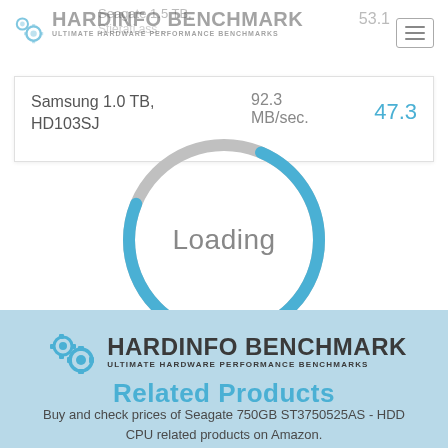[Figure (screenshot): Hardinfo Benchmark website screenshot showing a loading spinner overlay on top of benchmark results. Top section shows the Hardinfo Benchmark logo with gear icons, a navigation hamburger menu, faded benchmark entries including 'Seagate 1.5 TB' with score 53.1, and a white card showing 'Samsung 1.0 TB, HD103SJ' with speed '92.3 MB/sec.' and score '47.3'. A large circular loading spinner (blue and grey) with 'Loading' text overlays the card. Bottom section has a light blue background showing Hardinfo Benchmark logo again with text 'Related Products' and 'Buy and check prices of Seagate 750GB ST3750525AS - HDD CPU related products on Amazon.']